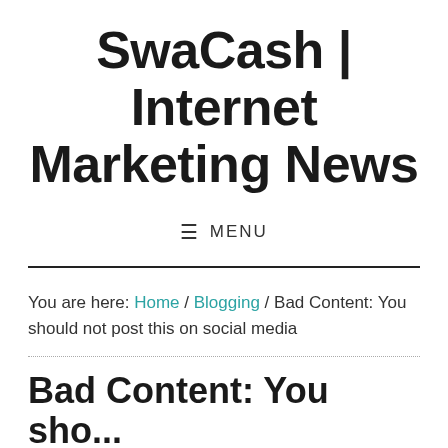SwaCash | Internet Marketing News
≡  MENU
You are here: Home / Blogging / Bad Content: You should not post this on social media
Bad Content: You should...